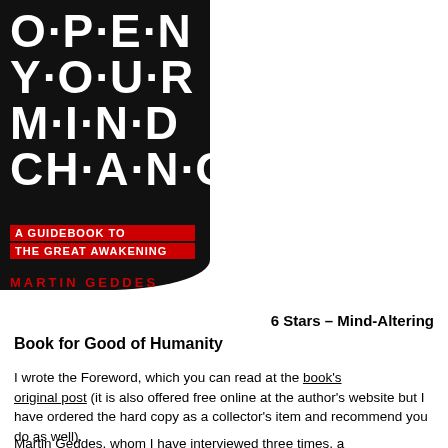[Figure (illustration): Book cover for 'Open Your Mind to Change: A Guidebook to the Great Awakening' by Martin Geddes. Black background with large white bold uppercase text reading OPEN YOUR MIND CHANGE, red banner strips reading 'A GUIDEBOOK TO' and 'THE GREAT AWAKENING', author name MARTIN GEDDES in red below.]
6 Stars – Mind-Altering Book for Good of Humanity
I wrote the Foreword, which you can read at the book's original post (it is also offered free online at the author's website but I have ordered the hard copy as a collector's item and recommend you do as well).
Martin Geddes, whom I have interviewed three times, a